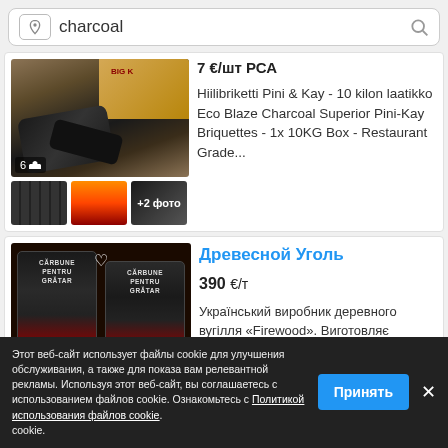charcoal
7 €/шт РСА
Hiilibriketti Pini & Kay - 10 kilon laatikko Eco Blaze Charcoal Superior Pini-Kay Briquettes - 1x 10KG Box - Restaurant Grade...
Древесной Уголь
390 €/т
Український виробник деревного вугілля «Firewood». Виготовляє високоякісне
Этот веб-сайт использует файлы cookie для улучшения обслуживания, а также для показа вам релевантной рекламы. Используя этот веб-сайт, вы соглашаетесь с использованием файлов cookie. Ознакомьтесь с Политикой использования файлов cookie.
Принять